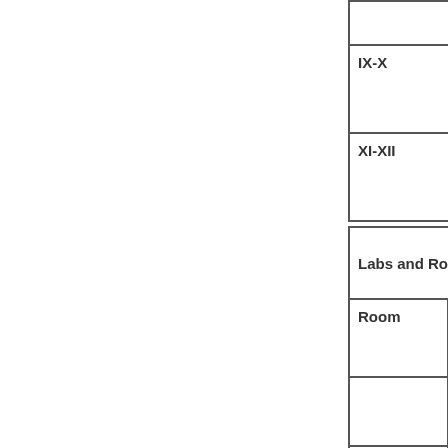|  |  |
| --- | --- |
|  |  |
| IX-X |  |
| XI-XII |  |
| Labs and Room |  |
| --- | --- |
| Room | Num |
|  |  |
| Class Room | 1 |
| Composite Science Lab |  |
| Physics Lab | 0 |